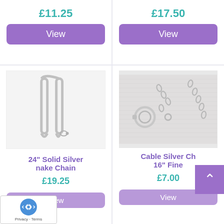£11.25
View
£17.50
View
[Figure (photo): Silver snake chain necklace folded on white background]
24" Solid Silver Snake Chain
£19.25
View
[Figure (photo): Close-up of cable silver chain with spring ring clasp on white fabric background]
Cable Silver Chain 16" Fine
£7.00
View